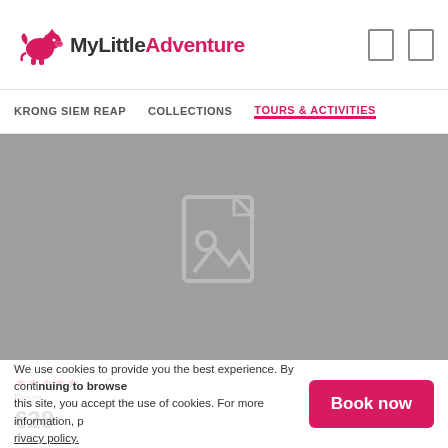[Figure (logo): MyLittleAdventure logo with pink flying pig icon and text 'MyLittle' in dark grey and 'Adventure' in pink]
KRONG SIEM REAP   COLLECTIONS   TOURS & ACTIVITIES
[Figure (photo): Grey placeholder image with a document/image icon in the center]
☆☆☆☆☆ 0
From
€28
We use cookies to provide you the best experience. By continuing to browse this site, you accept the use of cookies. For more information, please read our Privacy policy.
Book now